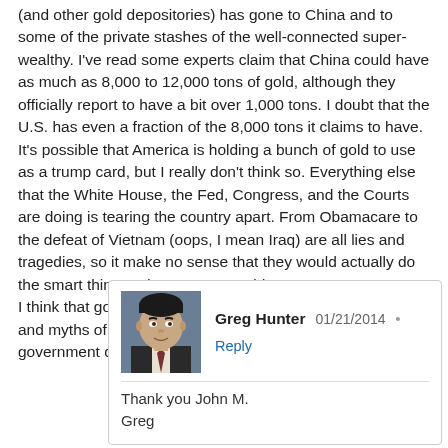(and other gold depositories) has gone to China and to some of the private stashes of the well-connected super-wealthy. I've read some experts claim that China could have as much as 8,000 to 12,000 tons of gold, although they officially report to have a bit over 1,000 tons. I doubt that the U.S. has even a fraction of the 8,000 tons it claims to have. It's possible that America is holding a bunch of gold to use as a trump card, but I really don't think so. Everything else that the White House, the Fed, Congress, and the Courts are doing is tearing the country apart. From Obamacare to the defeat of Vietnam (oops, I mean Iraq) are all lies and tragedies, so it make no sense that they would actually do the smart thing and store some gold.
I think that gold plays a pivotal role in exposing the faults and myths of our fraudulent dollar, that's why our government can't help but demonize it.
[Figure (photo): Avatar photo of Greg Hunter — a man in a suit with dark hair]
Greg Hunter  01/21/2014 • Reply
Thank you John M.
Greg